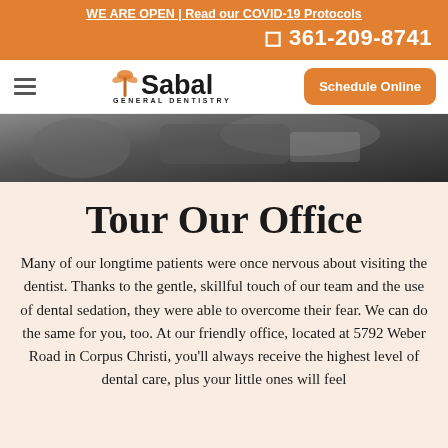WE ARE OPEN | Read our COVID-19 Protocols
361-209-8741
[Figure (logo): Sabal General Dentistry logo with palm tree icon]
Schedule Online
[Figure (photo): Photo of a patient in a dental chair holding a pamphlet]
Tour Our Office
Many of our longtime patients were once nervous about visiting the dentist. Thanks to the gentle, skillful touch of our team and the use of dental sedation, they were able to overcome their fear. We can do the same for you, too. At our friendly office, located at 5792 Weber Road in Corpus Christi, you'll always receive the highest level of dental care, plus your little ones will feel